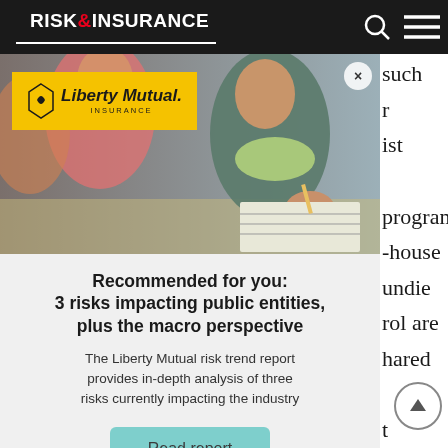RISK & INSURANCE
[Figure (screenshot): Risk & Insurance website screenshot showing a modal overlay with Liberty Mutual advertisement on a page about public entities insurance. The modal contains a photo of students in a classroom, a Liberty Mutual Insurance logo badge in yellow, and promotional text.]
Recommended for you: 3 risks impacting public entities, plus the macro perspective
The Liberty Mutual risk trend report provides in-depth analysis of three risks currently impacting the industry
Read report
such r ist program -houseundle rol are hared t tted and